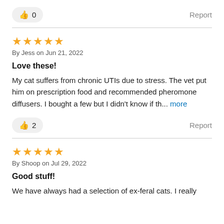👍 0
Report
★★★★★
By Jess on Jun 21, 2022
Love these!
My cat suffers from chronic UTIs due to stress. The vet put him on prescription food and recommended pheromone diffusers. I bought a few but I didn't know if th... more
👍 2
Report
★★★★★
By Shoop on Jul 29, 2022
Good stuff!
We have always had a selection of ex-feral cats. I really